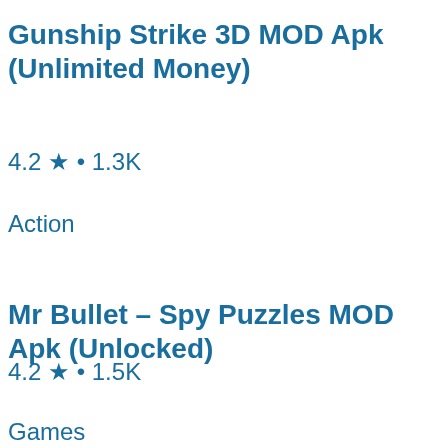Gunship Strike 3D MOD Apk (Unlimited Money)
4.2 ★ • 1.3K
Action
Mr Bullet – Spy Puzzles MOD Apk (Unlocked)
4.2 ★ • 1.5K
Games